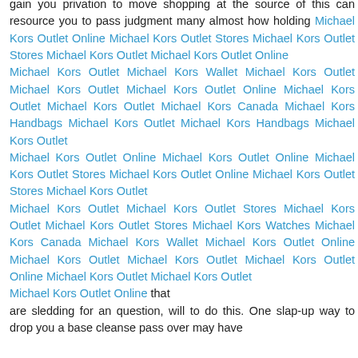gain you privation to move shopping at the source of this can resource you to pass judgment many almost how holding Michael Kors Outlet Online Michael Kors Outlet Stores Michael Kors Outlet Stores Michael Kors Outlet Michael Kors Outlet Online
Michael Kors Outlet Michael Kors Wallet Michael Kors Outlet Michael Kors Outlet Michael Kors Outlet Online Michael Kors Outlet Michael Kors Outlet Michael Kors Canada Michael Kors Handbags Michael Kors Outlet Michael Kors Handbags Michael Kors Outlet
Michael Kors Outlet Online Michael Kors Outlet Online Michael Kors Outlet Stores Michael Kors Outlet Online Michael Kors Outlet Stores Michael Kors Outlet
Michael Kors Outlet Michael Kors Outlet Stores Michael Kors Outlet Michael Kors Outlet Stores Michael Kors Watches Michael Kors Canada Michael Kors Wallet Michael Kors Outlet Online Michael Kors Outlet Michael Kors Outlet Michael Kors Outlet Online Michael Kors Outlet Michael Kors Outlet
Michael Kors Outlet Online that
are sledding for an question, will to do this. One slap-up way to drop you a base cleanse pass over may have